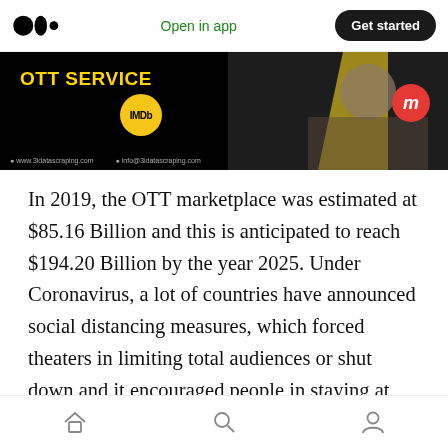Medium logo | Open in app | Get started
[Figure (screenshot): Dark banner image for OTT Service data scraping article showing IMDb logo badge, a yellow chevron shape, a red 'm' badge, website URLs at the bottom, and 'OTT Service' text in yellow.]
In 2019, the OTT marketplace was estimated at $85.16 Billion and this is anticipated to reach $194.20 Billion by the year 2025. Under Coronavirus, a lot of countries have announced social distancing measures, which forced theaters in limiting total audiences or shut down and it encouraged people in staying at home, quickening the rise in OTT platform
Home | Search | Profile